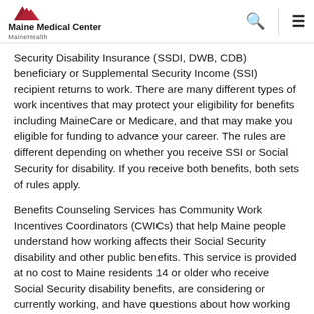Maine Medical Center MaineHealth
Security Disability Insurance (SSDI, DWB, CDB) beneficiary or Supplemental Security Income (SSI) recipient returns to work. There are many different types of work incentives that may protect your eligibility for benefits including MaineCare or Medicare, and that may make you eligible for funding to advance your career. The rules are different depending on whether you receive SSI or Social Security for disability. If you receive both benefits, both sets of rules apply.
Benefits Counseling Services has Community Work Incentives Coordinators (CWICs) that help Maine people understand how working affects their Social Security disability and other public benefits. This service is provided at no cost to Maine residents 14 or older who receive Social Security disability benefits, are considering or currently working, and have questions about how working impacts benefits. This service is made possible through funding from the Maine Department of Labor's Bureau of Rehabilitation